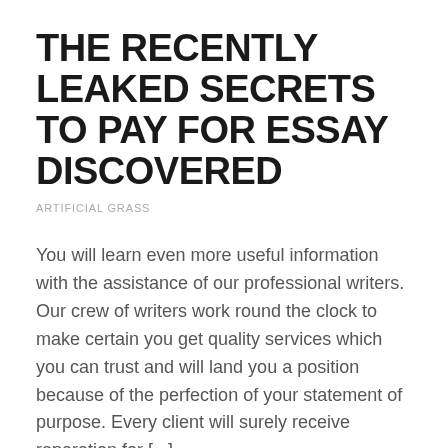THE RECENTLY LEAKED SECRETS TO PAY FOR ESSAY DISCOVERED
ARTIFICIAL GRASS
You will learn even more useful information with the assistance of our professional writers. Our crew of writers work round the clock to make certain you get quality services which you can trust and will land you a position because of the perfection of your statement of purpose. Every client will surely receive reparation for [...]
Read more ›